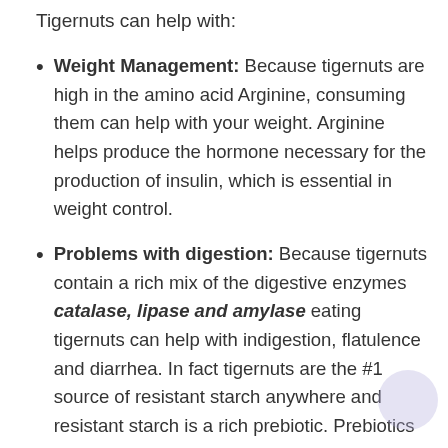Tigernuts can help with:
Weight Management: Because tigernuts are high in the amino acid Arginine, consuming them can help with your weight. Arginine helps produce the hormone necessary for the production of insulin, which is essential in weight control.
Problems with digestion: Because tigernuts contain a rich mix of the digestive enzymes catalase, lipase and amylase eating tigernuts can help with indigestion, flatulence and diarrhea. In fact tigernuts are the #1 source of resistant starch anywhere and resistant starch is a rich prebiotic. Prebiotics are incredibly important for giving your beneficial gut flora a safe environment to grow and prosper. 1 oz. of tigernuts